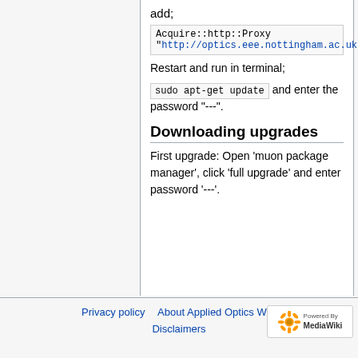add;
Acquire::http::Proxy "http://optics.eee.nottingham.ac.uk:62267";
Restart and run in terminal;
sudo apt-get update and enter the password "---".
Downloading upgrades
First upgrade: Open 'muon package manager', click 'full upgrade' and enter password '---'.
Privacy policy   About Applied Optics Wiki   Disclaimers